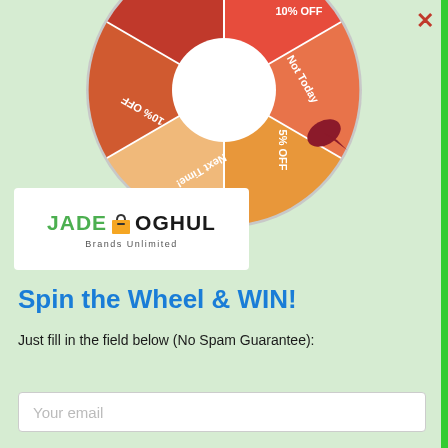[Figure (infographic): Spin the Wheel game graphic — a colorful prize wheel with segments labeled: Almost, 10% OFF, Not Today, 5% OFF, Next Time!, 10% OFF. The wheel is partially shown at the top of the page with a red pointer arrow indicating the current position.]
[Figure (logo): Jade Moghul Brands Unlimited logo — green text JADE, an orange/yellow shopping bag icon, black text MOGHUL, and tagline 'Brands Unlimited' beneath.]
Spin the Wheel & WIN!
Just fill in the field below (No Spam Guarantee):
Your email